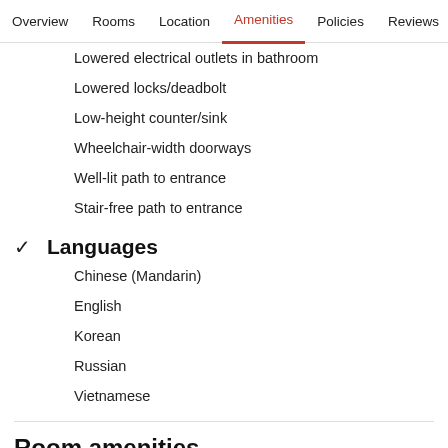Overview  Rooms  Location  Amenities  Policies  Reviews
Lowered electrical outlets in bathroom
Lowered locks/deadbolt
Low-height counter/sink
Wheelchair-width doorways
Well-lit path to entrance
Stair-free path to entrance
✓ Languages
Chinese (Mandarin)
English
Korean
Russian
Vietnamese
Room amenities